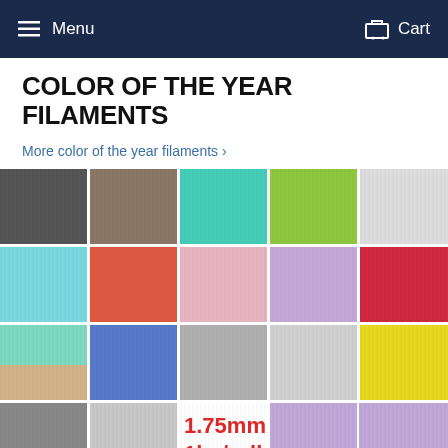Menu   Cart
COLOR OF THE YEAR FILAMENTS
More color of the year filaments ›
[Figure (photo): Grid of 3D printer filament spools in various colors including gray, taupe, teal, lime, white, cyan, coral, pink, lavender, red, multicolor, blue, silver, light gray, yellow, dark gray, light gray, and purple. Overlaid text reads '1.75mm 1kg/roll' in red.]
Bulk Discount Price for FilaCube PLA 2 3D Printer Filament
Greenery (Color of Year 2017,Yellowish-Green Shade, Yoda Green) 1.75mm 1KG FilaCube 3D Printer PLA 2